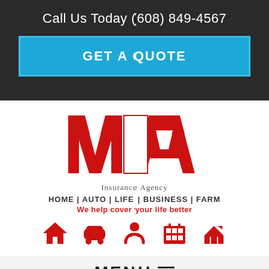Call Us Today (608) 849-4567
GET A QUOTE
[Figure (logo): WA Insurance Agency logo with large red W and A letters and a white square between them]
Insurance Agency
HOME | AUTO | LIFE | BUSINESS | FARM
We help cover your life better
[Figure (infographic): Five red insurance icons: house, car, hands with heart, building/business, farm house]
MENU